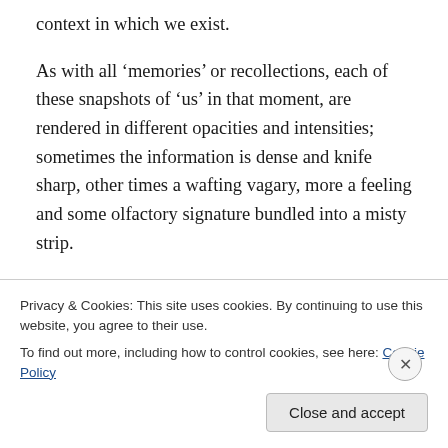context in which we exist.
As with all ‘memories’ or recollections, each of these snapshots of ‘us’ in that moment, are rendered in different opacities and intensities; sometimes the information is dense and knife sharp, other times a wafting vagary, more a feeling and some olfactory signature bundled into a misty strip.
Like a Garage Band lay-down, imagine each of them roughly placed across the whole at different junctures and depths, arranged in such a way as to make sense of the
Privacy & Cookies: This site uses cookies. By continuing to use this website, you agree to their use.
To find out more, including how to control cookies, see here: Cookie Policy
Close and accept